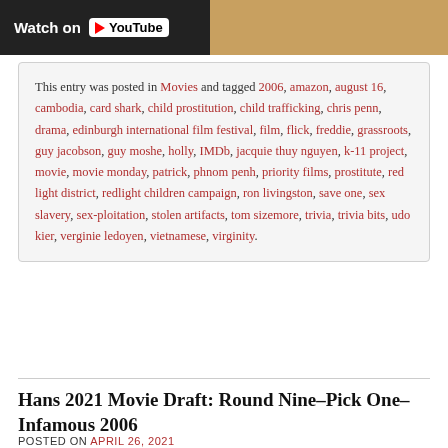[Figure (screenshot): YouTube Watch button banner at top of page, black background on left with 'Watch on YouTube' text and logo, amber/golden image on right]
This entry was posted in Movies and tagged 2006, amazon, august 16, cambodia, card shark, child prostitution, child trafficking, chris penn, drama, edinburgh international film festival, film, flick, freddie, grassroots, guy jacobson, guy moshe, holly, IMDb, jacquie thuy nguyen, k-11 project, movie, movie monday, patrick, phnom penh, priority films, prostitute, red light district, redlight children campaign, ron livingston, save one, sex slavery, sex-ploitation, stolen artifacts, tom sizemore, trivia, trivia bits, udo kier, verginie ledoyen, vietnamese, virginity.
Hans 2021 Movie Draft: Round Nine–Pick One–Infamous 2006
POSTED ON APRIL 26, 2021
[Figure (photo): Movie poster for Infamous 2006 with dark background, grayscale figure on left, white bold text 'THERE'S MORE TO THE STORY THAN YOU KNOW', cast names: TOBY JONES, SANDRA BULLOCK, DANIEL CRAIG in red and white]